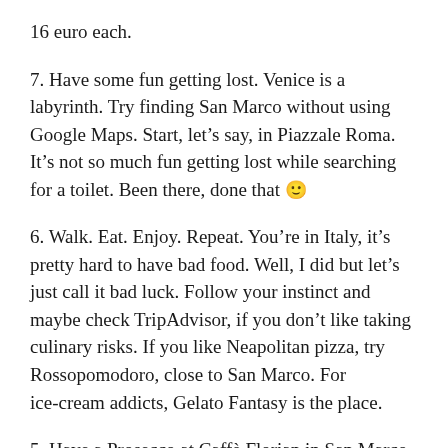16 euro each.
7. Have some fun getting lost. Venice is a labyrinth. Try finding San Marco without using Google Maps. Start, let's say, in Piazzale Roma. It's not so much fun getting lost while searching for a toilet. Been there, done that 🙂
6. Walk. Eat. Enjoy. Repeat. You're in Italy, it's pretty hard to have bad food. Well, I did but let's just call it bad luck. Follow your instinct and maybe check TripAdvisor, if you don't like taking culinary risks. If you like Neapolitan pizza, try Rossopomodoro, close to San Marco. For ice-cream addicts, Gelato Fantasy is the place.
5. Have a Prosecco at Caffè Florian in San Marco. Established in 1720, it is said to be the oldest café in the world. Imagine all the events that happened in three centuries. The place is not cheap, but it's worth every penny. During the Carnival, when all the people wearing costumes